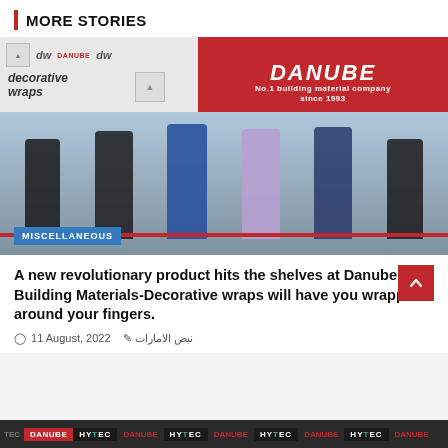MORE STORIES
[Figure (photo): Group of people at a ribbon-cutting ceremony in front of a Danube Building Materials store with decorative wraps branding in the background. A MISCELLANEOUS category tag is overlaid at the bottom left of the image.]
A new revolutionary product hits the shelves at Danube Building Materials-Decorative wraps will have you wrapped around your fingers.
11 August, 2022   نبض الامارات
[Figure (other): Bottom ticker/strip showing repeating Danube and HYTEC logos on a dark background]